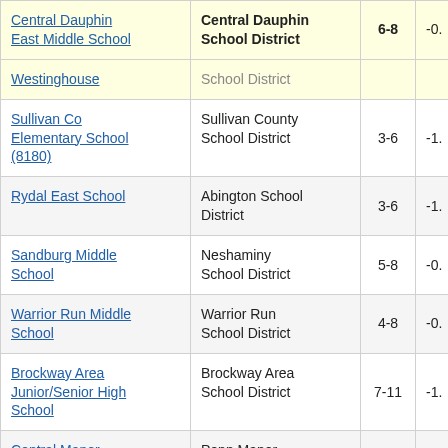| School | District | Grades |  |
| --- | --- | --- | --- |
| Central Dauphin East Middle School | Central Dauphin School District | 6-8 | -0. |
| Westinghouse | School District |  |  |
| Sullivan Co Elementary School (8180) | Sullivan County School District | 3-6 | -1. |
| Rydal East School | Abington School District | 3-6 | -1. |
| Sandburg Middle School | Neshaminy School District | 5-8 | -0. |
| Warrior Run Middle School | Warrior Run School District | 4-8 | -0. |
| Brockway Area Junior/Senior High School | Brockway Area School District | 7-11 | -1. |
| Central Manor Elementary School | Penn Manor School District | 3-6 | -1. |
| Fairview Middle | Fairview School | 5-8 |  |